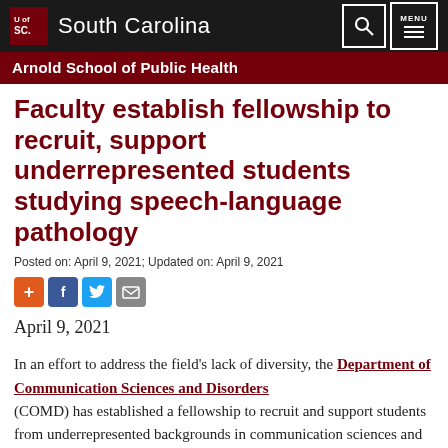South Carolina — Arnold School of Public Health
Faculty establish fellowship to recruit, support underrepresented students studying speech-language pathology
Posted on: April 9, 2021; Updated on: April 9, 2021
[Figure (other): Social share buttons: AddThis (+), Facebook (f), Twitter bird, Email envelope]
April 9, 2021
In an effort to address the field's lack of diversity, the Department of Communication Sciences and Disorders (COMD) has established a fellowship to recruit and support students from underrepresented backgrounds in communication sciences and disorders. Fellowship